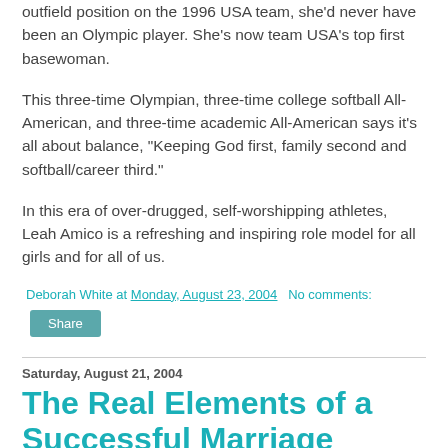outfield position on the 1996 USA team, she'd never have been an Olympic player. She's now team USA's top first basewoman.
This three-time Olympian, three-time college softball All-American, and three-time academic All-American says it's all about balance, "Keeping God first, family second and softball/career third."
In this era of over-drugged, self-worshipping athletes, Leah Amico is a refreshing and inspiring role model for all girls and for all of us.
Deborah White at Monday, August 23, 2004   No comments:
Share
Saturday, August 21, 2004
The Real Elements of a Successful Marriage